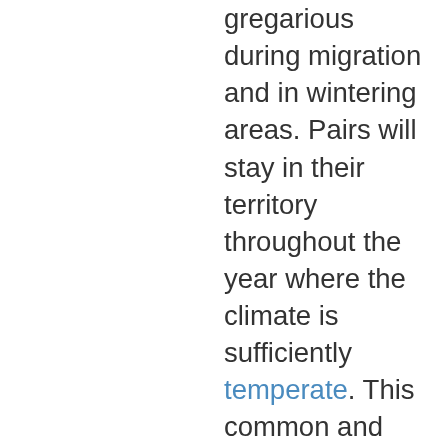gregarious during migration and in wintering areas. Pairs will stay in their territory throughout the year where the climate is sufficiently temperate. This common and conspicuous species has given rise to a number of literary and cultural references, frequently related to its song.
(From Wikipedia.org, September 13 2010)
– – –
Adult male blackbirds are, as the name